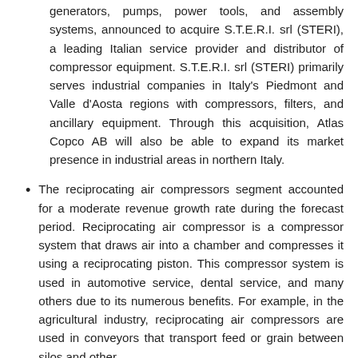generators, pumps, power tools, and assembly systems, announced to acquire S.T.E.R.I. srl (STERI), a leading Italian service provider and distributor of compressor equipment. S.T.E.R.I. srl (STERI) primarily serves industrial companies in Italy's Piedmont and Valle d'Aosta regions with compressors, filters, and ancillary equipment. Through this acquisition, Atlas Copco AB will also be able to expand its market presence in industrial areas in northern Italy.
The reciprocating air compressors segment accounted for a moderate revenue growth rate during the forecast period. Reciprocating air compressor is a compressor system that draws air into a chamber and compresses it using a reciprocating piston. This compressor system is used in automotive service, dental service, and many others due to its numerous benefits. For example, in the agricultural industry, reciprocating air compressors are used in conveyors that transport feed or grain between silos and other